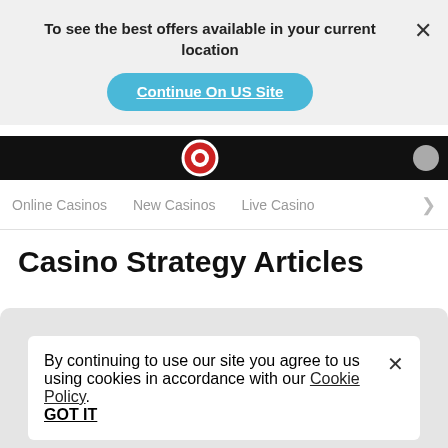To see the best offers available in your current location
Continue On US Site
Online Casinos   New Casinos   Live Casino   >
Casino Strategy Articles
By continuing to use our site you agree to us using cookies in accordance with our Cookie Policy.
GOT IT